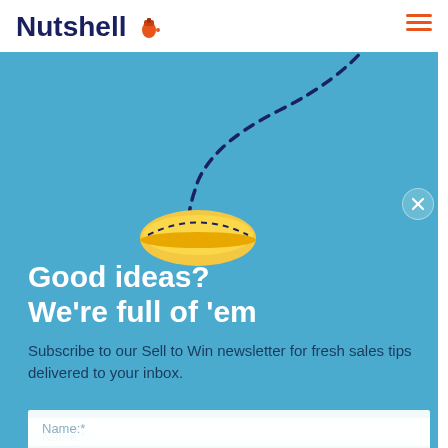[Figure (logo): Nutshell logo with dark blue bold text and orange acorn icon]
[Figure (illustration): Paper airplane flying with dashed arc trail, and golden dome/taco illustration below arc on blue background]
Good ideas? We're full of 'em
Subscribe to our Sell to Win newsletter for fresh sales tips delivered to your inbox.
Name:*
Email:*
SIGN UP